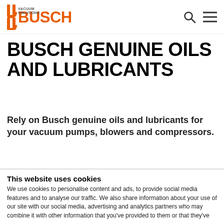BUSCH VACUUM SOLUTIONS
BUSCH GENUINE OILS AND LUBRICANTS
Rely on Busch genuine oils and lubricants for your vacuum pumps, blowers and compressors.
[Figure (photo): Three grey oil/lubricant canisters with red caps, partially visible, arranged side by side on a white background]
This website uses cookies
We use cookies to personalise content and ads, to provide social media features and to analyse our traffic. We also share information about your use of our site with our social media, advertising and analytics partners who may combine it with other information that you've provided to them or that they've